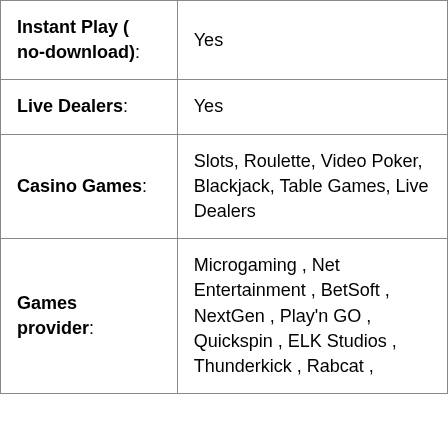| Instant Play ( no-download): | Yes |
| Live Dealers: | Yes |
| Casino Games: | Slots, Roulette, Video Poker, Blackjack, Table Games, Live Dealers |
| Games provider: | Microgaming , Net Entertainment , BetSoft , NextGen , Play'n GO , Quickspin , ELK Studios , Thunderkick , Rabcat , |